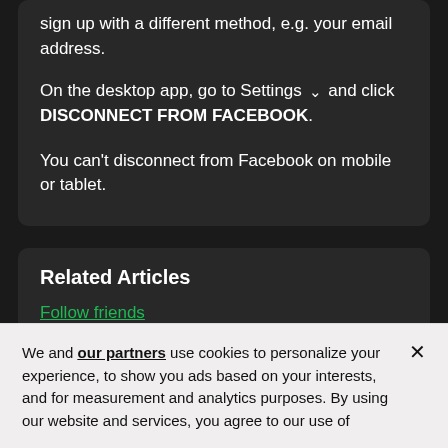sign up with a different method, e.g. your email address.
On the desktop app, go to Settings ∨ and click DISCONNECT FROM FACEBOOK.
You can't disconnect from Facebook on mobile or tablet.
Related Articles
Follow friends
Can't reset password
We and our partners use cookies to personalize your experience, to show you ads based on your interests, and for measurement and analytics purposes. By using our website and services, you agree to our use of